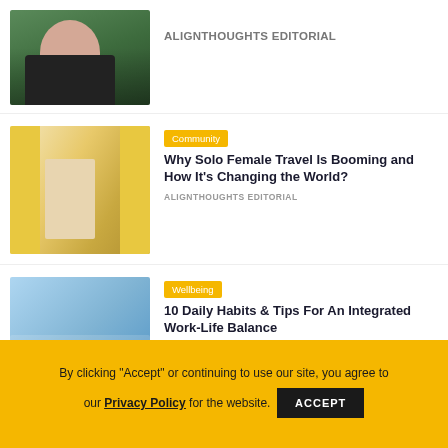[Figure (photo): Partial view of woman with headphones in black jacket standing outdoors]
ALIGNTHOUGHTS EDITORIAL
[Figure (photo): Woman in hat walking through colorful yellow and white European alley]
Community
Why Solo Female Travel Is Booming and How It's Changing the World?
ALIGNTHOUGHTS EDITORIAL
[Figure (photo): Young woman with teal headphones using laptop while sitting on couch]
Wellbeing
10 Daily Habits & Tips For An Integrated Work-Life Balance
ALIGNTHOUGHTS EDITORIAL
By clicking "Accept" or continuing to use our site, you agree to our Privacy Policy for the website.